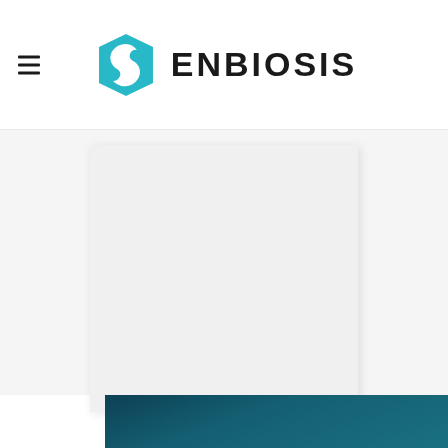ENBIOSIS
[Figure (other): Light gray placeholder content card area in the main body section of the Enbiosis website]
[Figure (other): Dark teal/navy banner at the bottom of the page, partially visible]